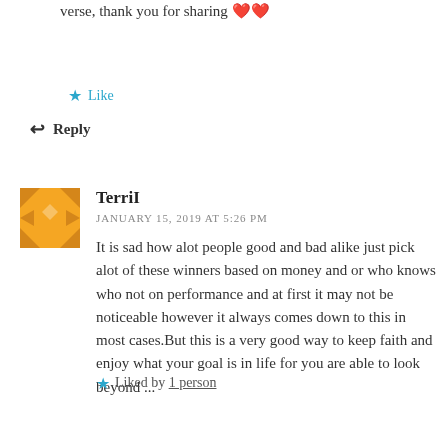Thank you Linnea! love that version of this verse, thank you for sharing ❤️❤️
★ Like
↩ Reply
TerriI
JANUARY 15, 2019 AT 5:26 PM
It is sad how alot people good and bad alike just pick alot of these winners based on money and or who knows who not on performance and at first it may not be noticeable however it always comes down to this in most cases.But this is a very good way to keep faith and enjoy what your goal is in life for you are able to look beyond ...
★ Liked by 1 person